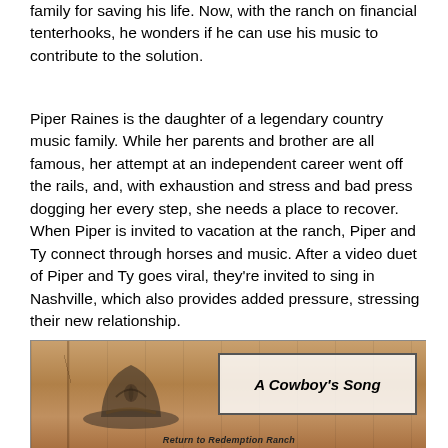family for saving his life. Now, with the ranch on financial tenterhooks, he wonders if he can use his music to contribute to the solution.
Piper Raines is the daughter of a legendary country music family. While her parents and brother are all famous, her attempt at an independent career went off the rails, and, with exhaustion and stress and bad press dogging her every step, she needs a place to recover. When Piper is invited to vacation at the ranch, Piper and Ty connect through horses and music. After a video duet of Piper and Ty goes viral, they’re invited to sing in Nashville, which also provides added pressure, stressing their new relationship.
[Figure (photo): Book cover image for 'A Cowboy's Song' - Return to Redemption Ranch series. Wood plank background with a cowboy hat and guitar visible. White box with italic bold title 'A Cowboy's Song' and subtitle 'Return to Redemption Ranch' at bottom.]